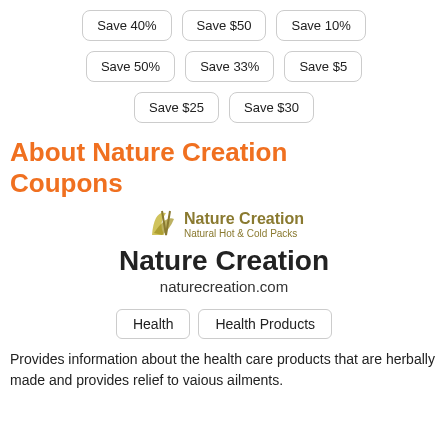Save 40%
Save $50
Save 10%
Save 50%
Save 33%
Save $5
Save $25
Save $30
About Nature Creation Coupons
[Figure (logo): Nature Creation logo with leaf mark and text 'Nature Creation Natural Hot & Cold Packs']
Nature Creation
naturecreation.com
Health
Health Products
Provides information about the health care products that are herbally made and provides relief to vaious ailments.